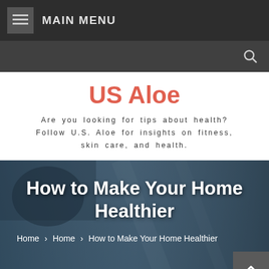MAIN MENU
US Aloe
Are you looking for tips about health? Follow U.S. Aloe for insights on fitness, skin care, and health.
[Figure (photo): Hero image with blurred blue background showing a stethoscope on denim fabric, overlaid with article title text]
How to Make Your Home Healthier
Home › Home › How to Make Your Home Healthier